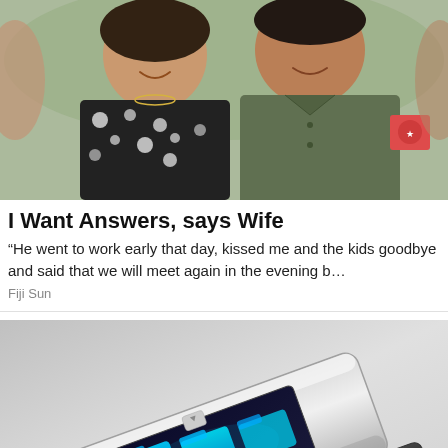[Figure (photo): Two people smiling closely together outdoors — a woman in a floral black and white top and a man in an olive green uniform shirt with a patch on the sleeve]
I Want Answers, says Wife
“He went to work early that day, kissed me and the kids goodbye and said that we will meet again in the evening b…
Fiji Sun
[Figure (photo): A futuristic USB flash drive with a small display screen showing blue folder icons and the text 'Company folder'. The drive has a silver metallic body and a black cap pulled partially off.]